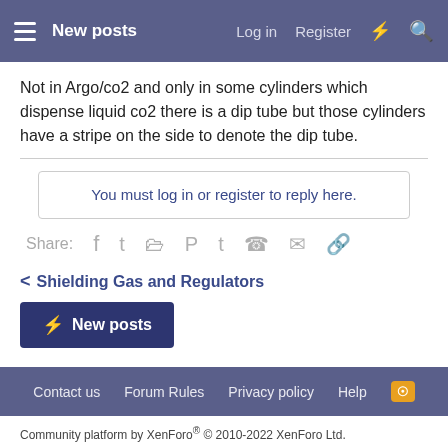New posts  Log in  Register
Not in Argo/co2 and only in some cylinders which dispense liquid co2 there is a dip tube but those cylinders have a stripe on the side to denote the dip tube.
You must log in or register to reply here.
Share:
< Shielding Gas and Regulators
⚡ New posts
Contact us  Forum Rules  Privacy policy  Help
Community platform by XenForo® © 2010-2022 XenForo Ltd.